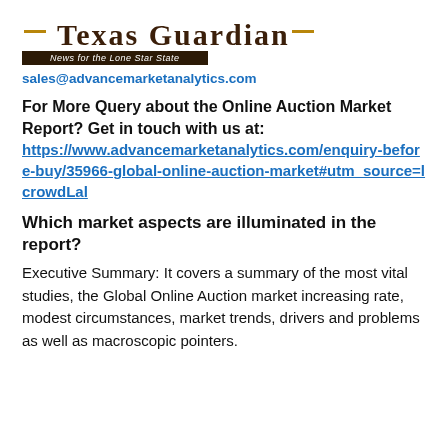Texas Guardian — News for the Lone Star State
sales@advancemarketanalytics.com
For More Query about the Online Auction Market Report? Get in touch with us at: https://www.advancemarketanalytics.com/enquiry-before-buy/35966-global-online-auction-market#utm_source=lcrowdLal
Which market aspects are illuminated in the report?
Executive Summary: It covers a summary of the most vital studies, the Global Online Auction market increasing rate, modest circumstances, market trends, drivers and problems as well as macroscopic pointers.